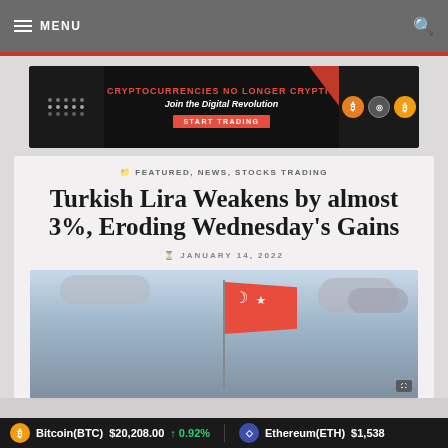MENU
[Figure (advertisement): Cryptocurrency advertisement banner: CRYPTOCURRENCIES NO LONGER CRYPTIC - Join the Digital Revolution - START TRADING]
FEATURED, NEWS, STOCKS TRADING
Turkish Lira Weakens by almost 3%, Eroding Wednesday's Gains
JANUARY 14, 2022
[Figure (photo): Turkish flag waving against a cloudy sky]
Bitcoin(BTC) $20,208.00 ↑ 0.92%   Ethereum(ETH) $1,538